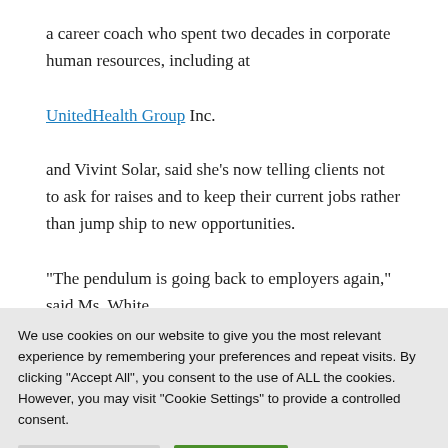a career coach who spent two decades in corporate human resources, including at UnitedHealth Group Inc. and Vivint Solar, said she's now telling clients not to ask for raises and to keep their current jobs rather than jump ship to new opportunities.
“The pendulum is going back to employers again,” said Ms. White,
We use cookies on our website to give you the most relevant experience by remembering your preferences and repeat visits. By clicking “Accept All”, you consent to the use of ALL the cookies. However, you may visit “Cookie Settings” to provide a controlled consent.